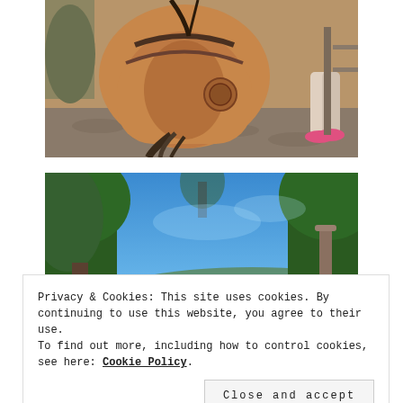[Figure (photo): Close-up photo of a brown/chestnut horse from behind with riding tack/harness, cobblestone ground visible, person with pink shoes standing nearby on the right]
[Figure (photo): Outdoor photo looking up at blue sky through tall green trees, wooden fence post visible on right, hills in background]
Privacy & Cookies: This site uses cookies. By continuing to use this website, you agree to their use.
To find out more, including how to control cookies, see here: Cookie Policy
Close and accept
[Figure (photo): Bottom partial photo showing outdoor scene, partially visible]